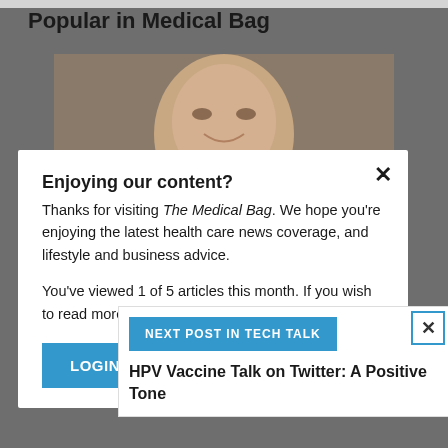Popular in Medical Bag
[Figure (photo): Photo of an older man's face, partially visible behind modal overlay]
Enjoying our content?
Thanks for visiting The Medical Bag. We hope you're enjoying the latest health care news coverage, and lifestyle and business advice.
You've viewed 1 of 5 articles this month. If you wish to read more, please register or login below.
LOGIN
REGISTER
NEXT POST IN TECH TALK
HPV Vaccine Talk on Twitter: A Positive Tone